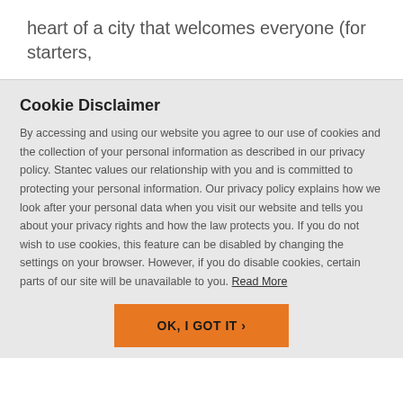heart of a city that welcomes everyone (for starters,
Cookie Disclaimer
By accessing and using our website you agree to our use of cookies and the collection of your personal information as described in our privacy policy. Stantec values our relationship with you and is committed to protecting your personal information. Our privacy policy explains how we look after your personal data when you visit our website and tells you about your privacy rights and how the law protects you. If you do not wish to use cookies, this feature can be disabled by changing the settings on your browser. However, if you do disable cookies, certain parts of our site will be unavailable to you. Read More
OK, I GOT IT ›